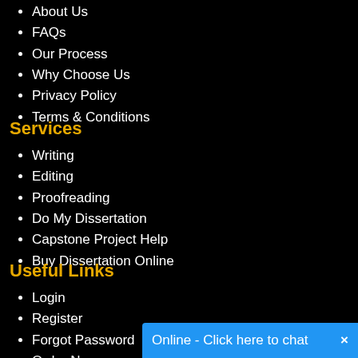About Us
FAQs
Our Process
Why Choose Us
Privacy Policy
Terms & Conditions
Services
Writing
Editing
Proofreading
Do My Dissertation
Capstone Project Help
Buy Dissertation Online
Useful Links
Login
Register
Forgot Password
Order Now
Contact Us
Online - Click here to chat